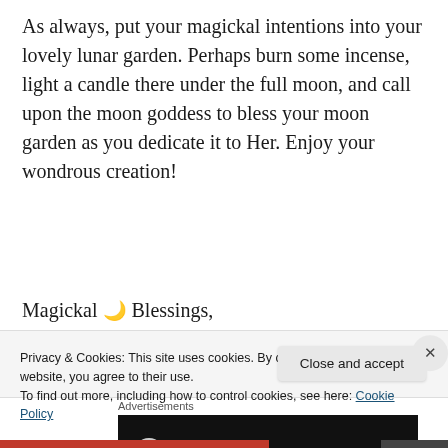As always, put your magickal intentions into your lovely lunar garden. Perhaps burn some incense, light a candle there under the full moon, and call upon the moon goddess to bless your moon garden as you dedicate it to Her. Enjoy your wondrous creation!
Magickal 🌙 Blessings,
Sarina
Advertisements
[Figure (other): Dark advertisement box with a light circular element visible at bottom left]
Privacy & Cookies: This site uses cookies. By continuing to use this website, you agree to their use.
To find out more, including how to control cookies, see here: Cookie Policy
Close and accept